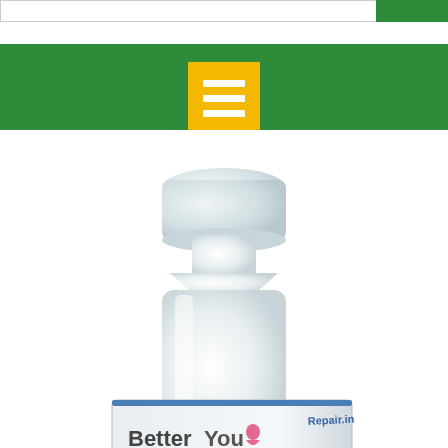[Figure (screenshot): Website header with search bar and green submit button at top]
[Figure (screenshot): Green navigation bar with yellow hamburger menu icon (three white horizontal lines on yellow square background)]
[Figure (photo): Product photo of BetterYou Repair.in pump bottle/spray bottle (white translucent bottle) sitting on top of its white product box showing BetterYou logo and Repair.in text]
[Figure (illustration): Magnifying glass search icon in the upper right area of the product image]